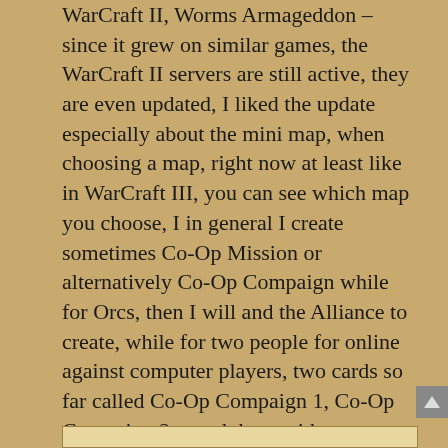WarCraft II, Worms Armageddon – since it grew on similar games, the WarCraft II servers are still active, they are even updated, I liked the update especially about the mini map, when choosing a map, right now at least like in WarCraft III, you can see which map you choose, I in general I create sometimes Co-Op Mission or alternatively Co-Op Compaign while for Orcs, then I will and the Alliance to create, while for two people for online against computer players, two cards so far called Co-Op Compaign 1, Co-Op Compaign 2 tested them with two players
Reply